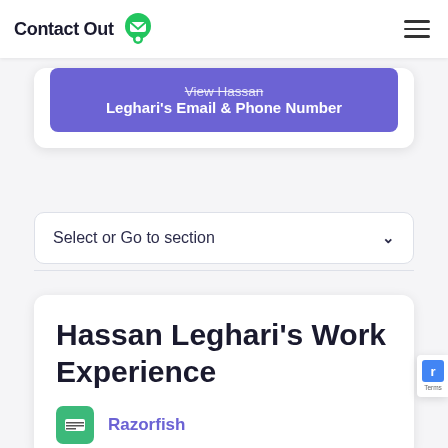ContactOut
[Figure (screenshot): ContactOut website screenshot showing a profile page for Hassan Leghari with a CTA button to view email and phone number, a section selector dropdown, and the beginning of the Work Experience section showing Razorfish company entry]
View Hassan Leghari's Email & Phone Number
Select or Go to section
Hassan Leghari's Work Experience
Razorfish